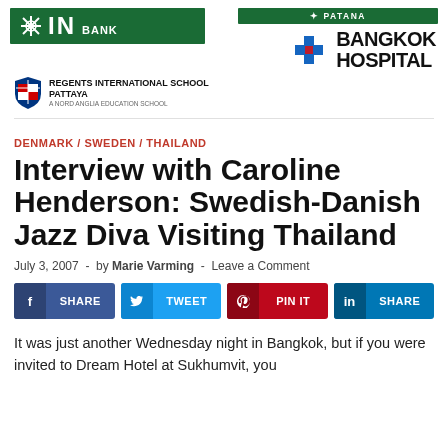[Figure (logo): IN BANK green banner logo with asterisk/snowflake icon]
[Figure (logo): Regents International School Pattaya logo with shield]
[Figure (logo): PATANA / Bangkok Hospital logo with cross icon]
DENMARK / SWEDEN / THAILAND
Interview with Caroline Henderson: Swedish-Danish Jazz Diva Visiting Thailand
July 3, 2007  -  by Marie Varming  -  Leave a Comment
f SHARE  |  TWEET  |  PIN IT  |  in SHARE
It was just another Wednesday night in Bangkok, but if you were invited to Dream Hotel at Sukhumvit, you